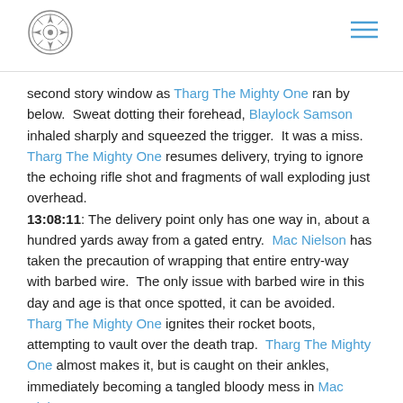[Logo] [Hamburger menu]
second story window as Tharg The Mighty One ran by below.  Sweat dotting their forehead, Blaylock Samson inhaled sharply and squeezed the trigger.  It was a miss.  Tharg The Mighty One resumes delivery, trying to ignore the echoing rifle shot and fragments of wall exploding just overhead.
13:08:11: The delivery point only has one way in, about a hundred yards away from a gated entry.  Mac Nielson has taken the precaution of wrapping that entire entry-way with barbed wire.  The only issue with barbed wire in this day and age is that once spotted, it can be avoided.  Tharg The Mighty One ignites their rocket boots, attempting to vault over the death trap.  Tharg The Mighty One almost makes it, but is caught on their ankles, immediately becoming a tangled bloody mess in Mac Nielson's